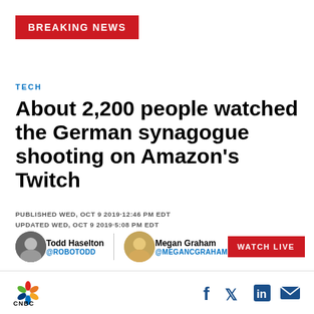[Figure (logo): CNBC Breaking News red banner with white bold text BREAKING NEWS]
TECH
About 2,200 people watched the German synagogue shooting on Amazon's Twitch
PUBLISHED WED, OCT 9 2019·12:46 PM EDT
UPDATED WED, OCT 9 2019·5:08 PM EDT
Todd Haselton @ROBOTODD | Megan Graham @MEGANCGRAHAM | WATCH LIVE
[Figure (logo): CNBC peacock logo and social media icons (Facebook, Twitter, LinkedIn, Email)]